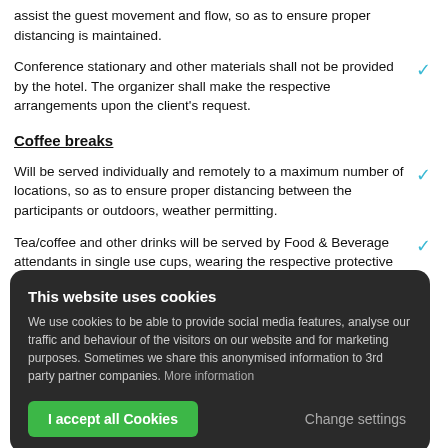assist the guest movement and flow, so as to ensure proper distancing is maintained.
Conference stationary and other materials shall not be provided by the hotel. The organizer shall make the respective arrangements upon the client's request.
Coffee breaks
Will be served individually and remotely to a maximum number of locations, so as to ensure proper distancing between the participants or outdoors, weather permitting.
Tea/coffee and other drinks will be served by Food & Beverage attendants in single use cups, wearing the respective protective equipment at all times. Guests shall have no access to tea/coffee/juice dispensers/machines.
This website uses cookies
We use cookies to be able to provide social media features, analyse our traffic and behaviour of the visitors on our website and for marketing purposes. Sometimes we share this anonymised information to 3rd party partner companies. More information
made available in larger numbers and shall be sanitized throughout the course of the event.